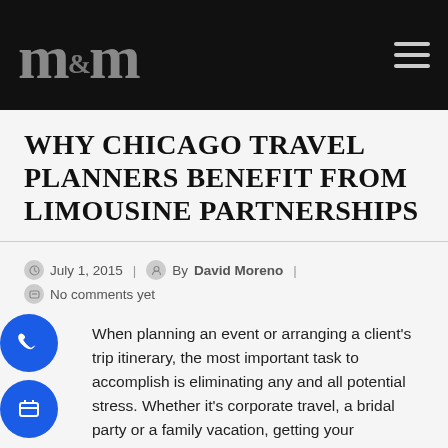m&m
WHY CHICAGO TRAVEL PLANNERS BENEFIT FROM LIMOUSINE PARTNERSHIPS
July 1, 2015 | By David Moreno | No comments yet
When planning an event or arranging a client's trip itinerary, the most important task to accomplish is eliminating any and all potential stress. Whether it's corporate travel, a bridal party or a family vacation, getting your